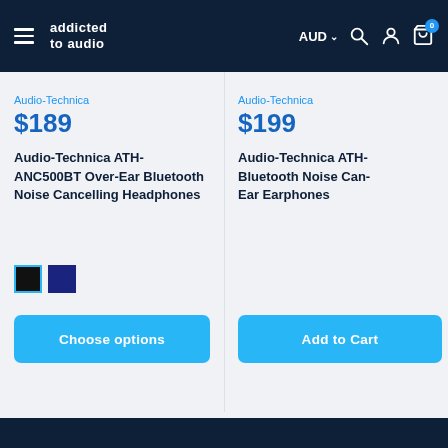addicted to audio — AUD — navigation bar
Audio-Technica
$189
Audio-Technica ATH-ANC500BT Over-Ear Bluetooth Noise Cancelling Headphones
Choose options
Audio-Technica
$199
Audio-Technica ATH- Bluetooth Noise Can- Ear Earphones
Add to Ca[rt]